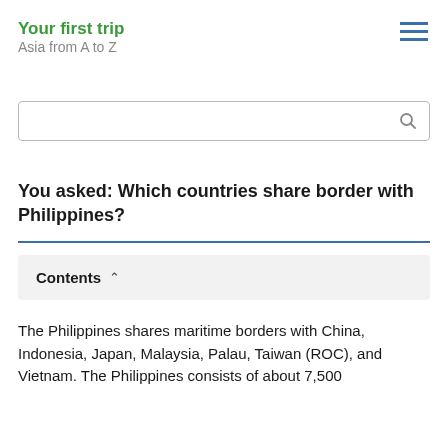Your first trip / Asia from A to Z
You asked: Which countries share border with Philippines?
Contents
The Philippines shares maritime borders with China, Indonesia, Japan, Malaysia, Palau, Taiwan (ROC), and Vietnam. The Philippines consists of about 7,500...